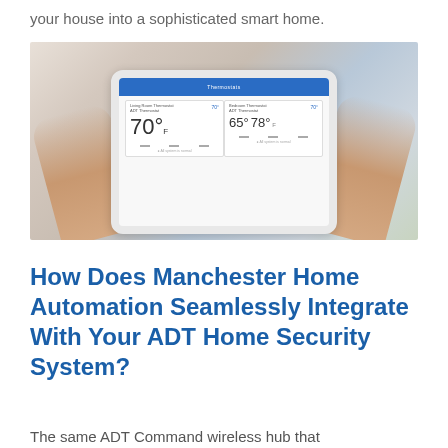your house into a sophisticated smart home.
[Figure (photo): Person holding a tablet device displaying an ADT thermostat control app with multiple zone temperature readings (70°, 65°, 78°) on the screen.]
How Does Manchester Home Automation Seamlessly Integrate With Your ADT Home Security System?
The same ADT Command wireless hub that